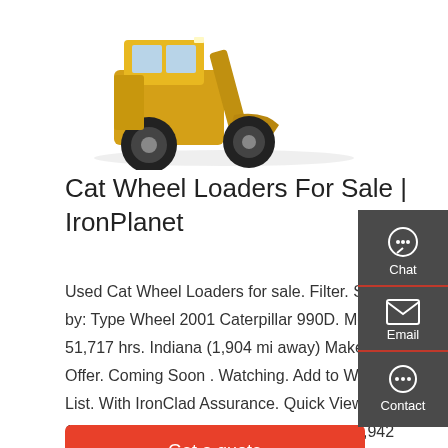[Figure (photo): Yellow Caterpillar wheel loader photographed from the front-side angle against a white background]
Cat Wheel Loaders For Sale | IronPlanet
Used Cat Wheel Loaders for sale. Filter. Sort by: Type Wheel 2001 Caterpillar 990D. Meter: 51,717 hrs. Indiana (1,904 mi away) Make Offer. Coming Soon . Watching. Add to Watch List. With IronClad Assurance. Quick View. 1974 Cat 988 Wheel Loader . Kentucky (1,942 mi away) Online Auction Coming Soon. Dec 9. Watching. Add to Watch List. With
Get a quote